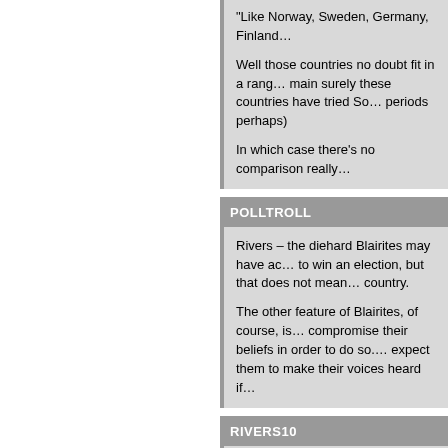“Like Norway, Sweden, Germany, Finland...
Well those countries no doubt fit in a rang... main surely these countries have tried So... periods perhaps)
In which case there’s no comparison really...
POLLTROLL
Rivers – the diehard Blairites may have ac... to win an election, but that does not mean... country.
The other feature of Blairites, of course, is... compromise their beliefs in order to do so.... expect them to make their voices heard if...
RIVERS10
BT